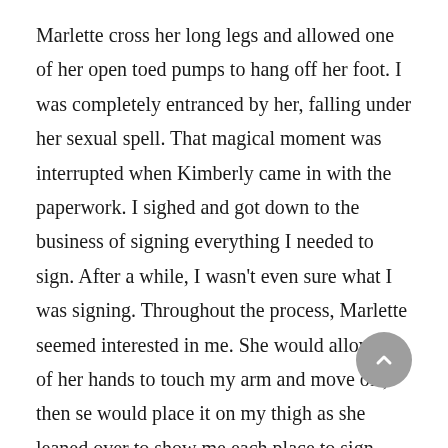Marlette cross her long legs and allowed one of her open toed pumps to hang off her foot. I was completely entranced by her, falling under her sexual spell. That magical moment was interrupted when Kimberly came in with the paperwork. I sighed and got down to the business of signing everything I needed to sign. After a while, I wasn't even sure what I was signing. Throughout the process, Marlette seemed interested in me. She would allow one of her hands to touch my arm and move off, then se would place it on my thigh as she leaned over to show me each place to sign. Her sweet berry perfume was absolutely intoxicating, and the view down her blouse was absolute heaven. This woman was easily pushing past 60 years of age, but she was so confident and sure of herself. She turned me on and she knew it.The final signature sealed the deal and brought me back to reality. I was informed by Kimberly that delivery wouldn't be for at least three days as they had to make final preparations to the Lauren unit, but